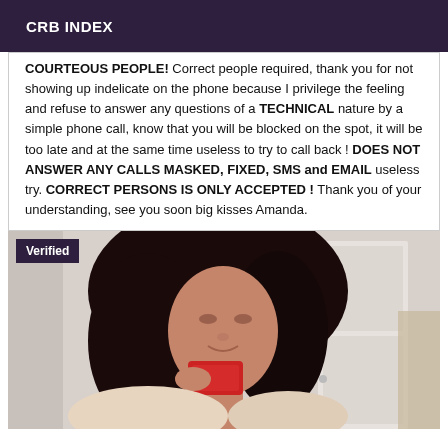CRB INDEX
COURTEOUS PEOPLE! Correct people required, thank you for not showing up indelicate on the phone because I privilege the feeling and refuse to answer any questions of a TECHNICAL nature by a simple phone call, know that you will be blocked on the spot, it will be too late and at the same time useless to try to call back ! DOES NOT ANSWER ANY CALLS MASKED, FIXED, SMS and EMAIL useless try. CORRECT PERSONS IS ONLY ACCEPTED ! Thank you of your understanding, see you soon big kisses Amanda.
[Figure (photo): A woman with long dark hair taking a selfie in a mirror, holding a red phone, with a white door visible in the background. A 'Verified' badge is overlaid in the top-left corner.]